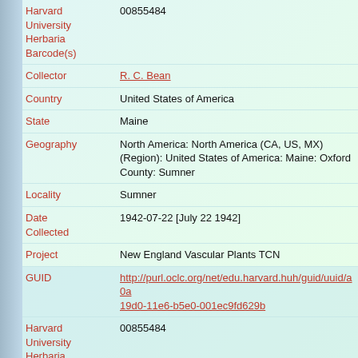| Field | Value |
| --- | --- |
| Harvard University Herbaria Barcode(s) | 00855484 |
| Collector | R. C. Bean |
| Country | United States of America |
| State | Maine |
| Geography | North America: North America (CA, US, MX) (Region): United States of America: Maine: Oxford County: Sumner |
| Locality | Sumner |
| Date Collected | 1942-07-22 [July 22 1942] |
| Project | New England Vascular Plants TCN |
| GUID | http://purl.oclc.org/net/edu.harvard.huh/guid/uuid/a0a...19d0-11e6-b5e0-001ec9fd629b |
| Harvard University Herbaria Barcode | 00855484 |
| Herbarium | NEBC |
| Determination | Pontederia cordata Linnaeus |
| Determination Remarks | [is filed under name] [is Current name] |